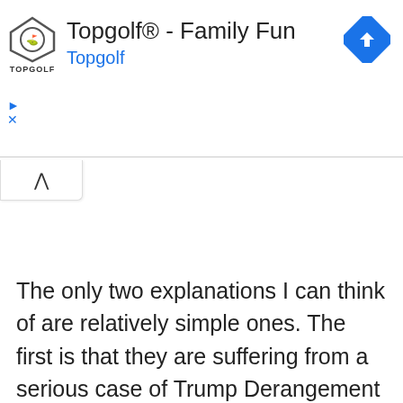[Figure (screenshot): Topgolf advertisement banner with logo, title 'Topgolf® - Family Fun', subtitle 'Topgolf', blue navigation diamond icon, play/close controls, and a collapse button with chevron.]
The only two explanations I can think of are relatively simple ones. The first is that they are suffering from a serious case of Trump Derangement Syndrome. That would explain